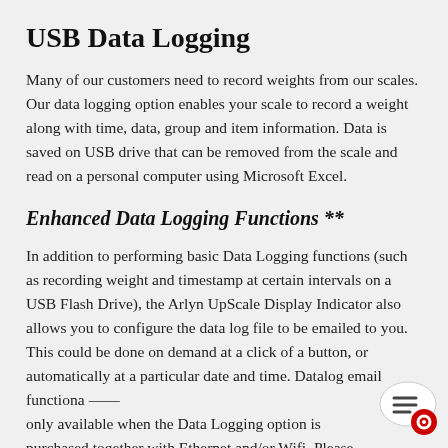USB Data Logging
Many of our customers need to record weights from our scales. Our data logging option enables your scale to record a weight along with time, data, group and item information. Data is saved on USB drive that can be removed from the scale and read on a personal computer using Microsoft Excel.
Enhanced Data Logging Functions **
In addition to performing basic Data Logging functions (such as recording weight and timestamp at certain intervals on a USB Flash Drive), the Arlyn UpScale Display Indicator also allows you to configure the data log file to be emailed to you. This could be done on demand at a click of a button, or automatically at a particular date and time. Datalog email functionality is only available when the Data Logging option is purchased together with Ethernet and/or Wifi. Please